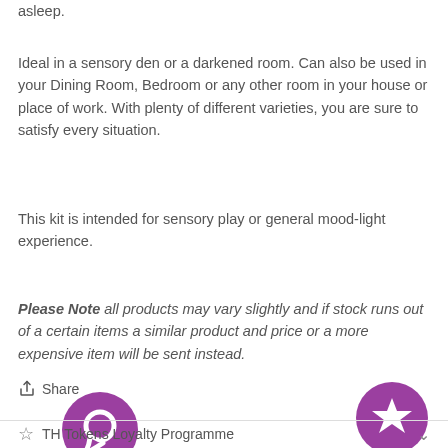asleep.
Ideal in a sensory den or a darkened room. Can also be used in your Dining Room, Bedroom or any other room in your house or place of work. With plenty of different varieties, you are sure to satisfy every situation.
This kit is intended for sensory play or general mood-light experience.
Please Note all products may vary slightly and if stock runs out of a certain items a similar product and price or a more expensive item will be sent instead.
Share
[Figure (illustration): Purple circular chat/message bubble icon button on left side]
[Figure (illustration): Purple circular star/favourite icon button on right side]
TH Tokens Loyalty Programme